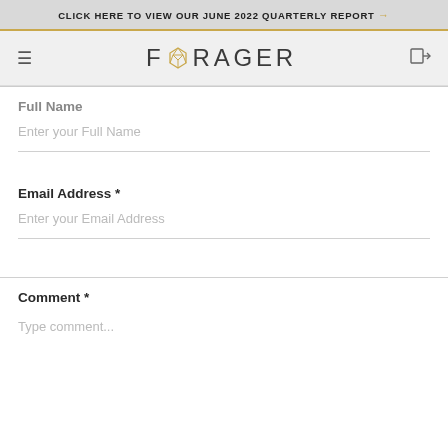CLICK HERE TO VIEW OUR JUNE 2022 QUARTERLY REPORT →
[Figure (logo): Forager logo with geometric gem icon and hamburger menu on left, exit icon on right]
Full Name
Enter your Full Name
Email Address *
Enter your Email Address
Comment *
Type comment...